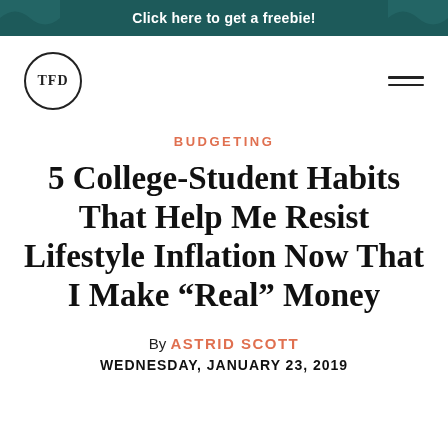Click here to get a freebie!
[Figure (logo): TFD circular logo with text TFD inside a circle]
BUDGETING
5 College-Student Habits That Help Me Resist Lifestyle Inflation Now That I Make “Real” Money
By ASTRID SCOTT
WEDNESDAY, JANUARY 23, 2019